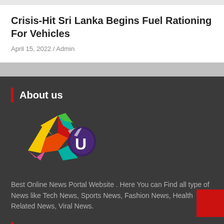Crisis-Hit Sri Lanka Begins Fuel Rationing For Vehicles
April 15, 2022 / Admin
About us
[Figure (logo): Colorful star/lightning bolt logo with the letter U, on dark background]
Best Online News Portal Website . Here You can Find all type of News like Tech News, Sports News, Fashion News, Health Related News, Viral News.
Recent Post